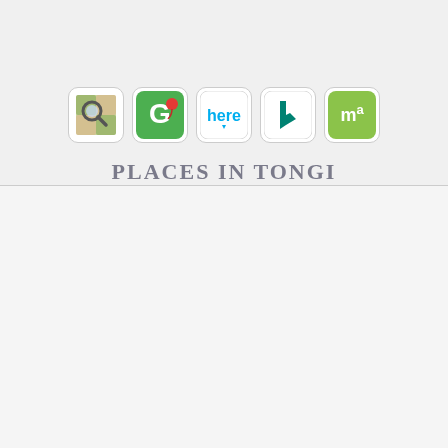[Figure (logo): Five map/search service app icons in a row: a magnifying glass map icon, Google Maps icon, HERE maps icon, Bing maps icon, and MapQuest icon]
PLACES IN TONGI